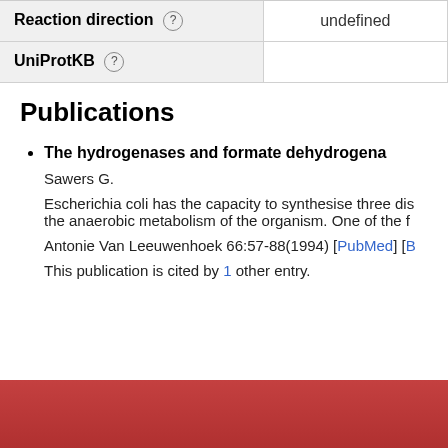| Field | Value |
| --- | --- |
| Reaction direction (?) | undefined |
| UniProtKB (?) |  |
Publications
The hydrogenases and formate dehydrogena...
Sawers G.
Escherichia coli has the capacity to synthesise three dis... the anaerobic metabolism of the organism. One of the f...
Antonie Van Leeuwenhoek 66:57-88(1994) [PubMed] [B...
This publication is cited by 1 other entry.